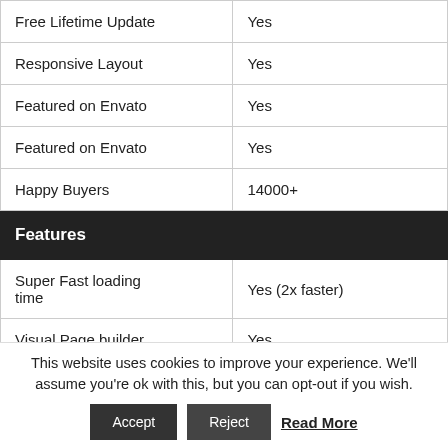| Free Lifetime Update | Yes |
| Responsive Layout | Yes |
| Featured on Envato | Yes |
| Featured on Envato | Yes |
| Happy Buyers | 14000+ |
| Features |  |
| Super Fast loading time | Yes (2x faster) |
| Visual Page builder | Yes |
This website uses cookies to improve your experience. We'll assume you're ok with this, but you can opt-out if you wish.